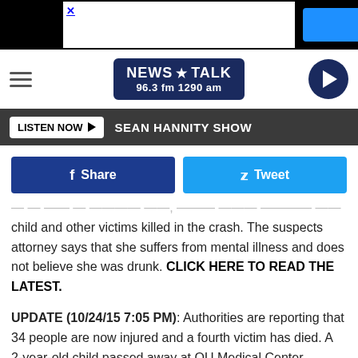[Figure (screenshot): News Talk 96.3 fm 1290 am radio station website header with navigation bar, listen now button showing Sean Hannity Show, Facebook share and Tweet buttons]
child and other victims killed in the crash. The suspects attorney says that she suffers from mental illness and does not believe she was drunk. CLICK HERE TO READ THE LATEST.
UPDATE (10/24/15 7:05 PM): Authorities are reporting that 34 people are now injured and a fourth victim has died. A 2-year-old child passed away at OU Medical Center.
The child was one of about six victims that were on a Holi...